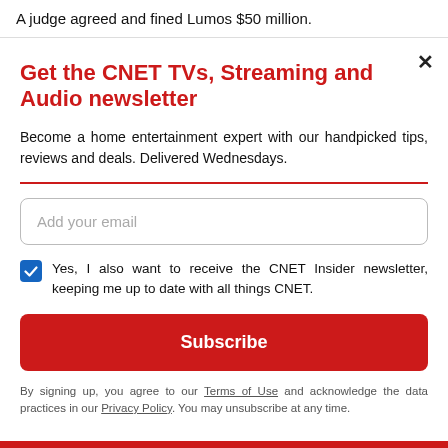A judge agreed and fined Lumos $50 million.
Get the CNET TVs, Streaming and Audio newsletter
Become a home entertainment expert with our handpicked tips, reviews and deals. Delivered Wednesdays.
Add your email
Yes, I also want to receive the CNET Insider newsletter, keeping me up to date with all things CNET.
Subscribe
By signing up, you agree to our Terms of Use and acknowledge the data practices in our Privacy Policy. You may unsubscribe at any time.